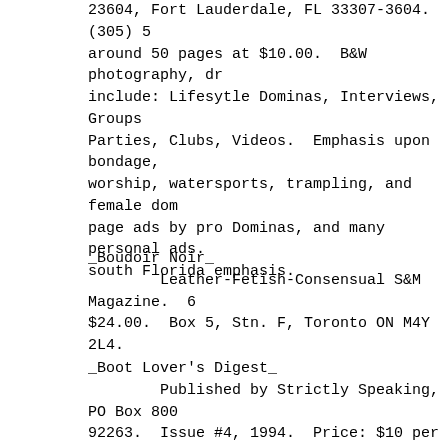23604, Fort Lauderdale, FL 33307-3604.  (305) 5 around 50 pages at $10.00.  B&W photography, dr include: Lifesytle Dominas, Interviews, Groups, Parties, Clubs, Videos.  Emphasis upon bondage, worship, watersports, trampling, and female dom page ads by pro Dominas, and many personal ads. south Florida emphasis.
_Boudoir Noir_
        Leather-Fetish-Consensual S&M Magazine.  6 $24.00.  Box 5, Stn. F, Toronto ON M4Y 2L4.
_Boot Lover's Digest_
        Published by Strictly Speaking, PO Box 800 92263.  Issue #4, 1994.  Price: $10 per issue U magazine, color and B&W photos, artwork, source from pro Dommes, and lots of commercial ads.  I Those that love the Female dressed in leather b will find gorgeous Women galore in this specia